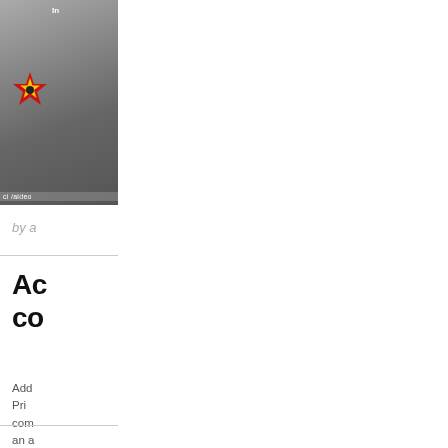[Figure (photo): Thumbnail image showing a person with a red and yellow star logo/badge overlay, partially cropped on the left side of the page]
by a
Ac co
Add Pri com an a facil mas etc.